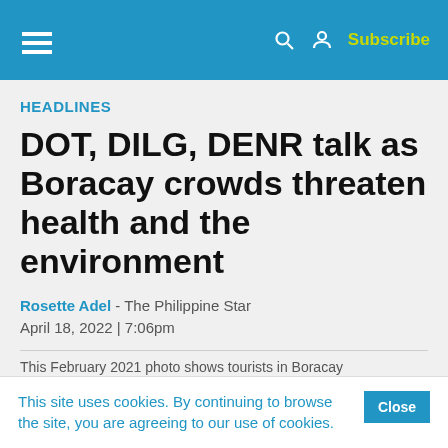Navigation bar with hamburger menu, search, user icon, Subscribe
HEADLINES
DOT, DILG, DENR talk as Boracay crowds threaten health and the environment
Rosette Adel - The Philippine Star
April 18, 2022 | 7:06pm
This February 2021 photo shows tourists in Boracay
This site uses cookies. By continuing to browse the site, you are agreeing to our use of cookies.